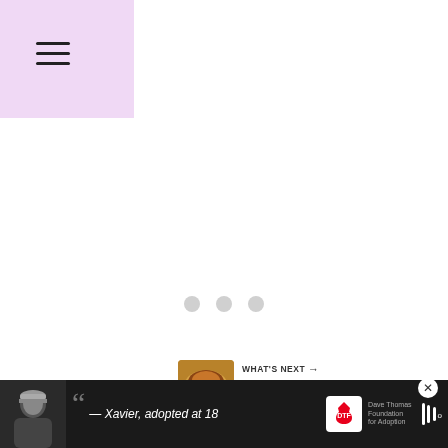☰ (hamburger menu icon)
[Figure (other): Loading spinner area with three grey dots centered on a white background]
[Figure (other): Heart/like button (teal circle with white heart icon) showing 5.4K likes, and a share button below]
[Figure (other): WHAT'S NEXT panel with food image thumbnail and text 'Ube Marble Bundt Cake']
That was not so hard, isn't it?  Beho simply stunning cake roll. A real fulfillment to...                                       ...t first.
[Figure (other): Advertisement banner at bottom: person with beanie hat, quote '— Xavier, adopted at 18', Dave Thomas Foundation for Adoption logo, and music/streaming service logo. Close button (X) visible.]